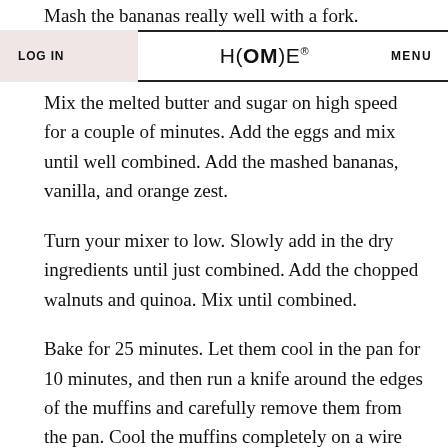Mash the bananas really well with a fork.
LOG IN   H(OM)E®   MENU
Mix the melted butter and sugar on high speed for a couple of minutes. Add the eggs and mix until well combined. Add the mashed bananas, vanilla, and orange zest.
Turn your mixer to low. Slowly add in the dry ingredients until just combined. Add the chopped walnuts and quinoa. Mix until combined.
Bake for 25 minutes. Let them cool in the pan for 10 minutes, and then run a knife around the edges of the muffins and carefully remove them from the pan. Cool the muffins completely on a wire rack.